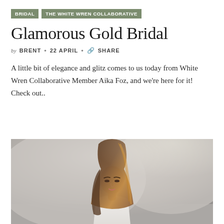BRIDAL   THE WHITE WREN COLLABORATIVE
Glamorous Gold Bridal
by BRENT • 22 APRIL • 🔗 SHARE
A little bit of elegance and glitz comes to us today from White Wren Collaborative Member Aika Foz, and we're here for it! Check out..
[Figure (photo): Portrait of a young woman with long brown highlighted hair, eyes slightly downcast, wearing a white dress, set against a soft grey rocky background outdoors.]